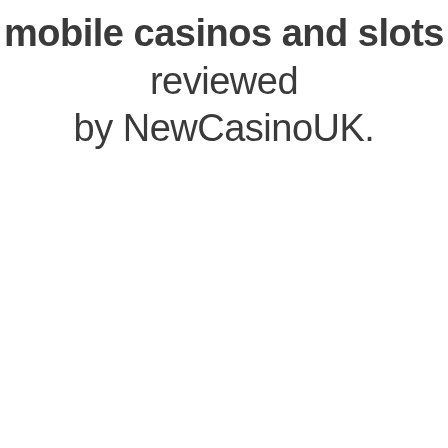mobile casinos and slots reviewed by NewCasinoUK.